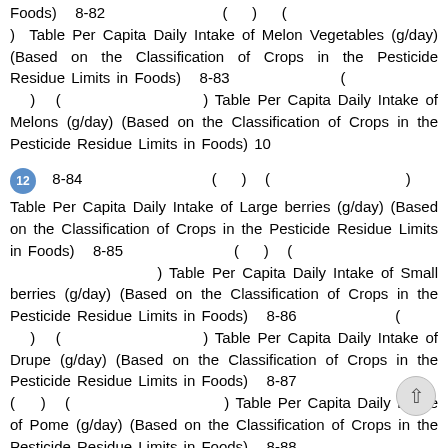Foods)  8-82                    (    )   ( ) Table Per Capita Daily Intake of Melon Vegetables (g/day) (Based on the Classification of Crops in the Pesticide Residue Limits in Foods)  8-83           (    )  (                    ) Table Per Capita Daily Intake of Melons (g/day) (Based on the Classification of Crops in the Pesticide Residue Limits in Foods) 10
12  8-84                    (    )  (                    ) Table Per Capita Daily Intake of Large berries (g/day) (Based on the Classification of Crops in the Pesticide Residue Limits in Foods)  8-85              (    )  (                    ) Table Per Capita Daily Intake of Small berries (g/day) (Based on the Classification of Crops in the Pesticide Residue Limits in Foods)  8-86              (    )  (                    ) Table Per Capita Daily Intake of Drupe (g/day) (Based on the Classification of Crops in the Pesticide Residue Limits in Foods)  8-87 (    )  (                    ) Table Per Capita Daily Intake of Pome (g/day) (Based on the Classification of Crops in the Pesticide Residue Limits in Foods)  8-88         (    )  (                    ) Table Per Capita Daily Intake of Citrus (g/day) (Based on the Classification of